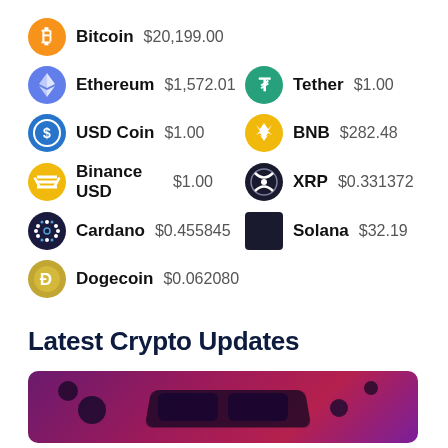Bitcoin $20,199.00
Ethereum $1,572.01 | Tether $1.00
USD Coin $1.00 | BNB $282.48
Binance USD $1.00 | XRP $0.331372
Cardano $0.455845 | Solana $32.19
Dogecoin $0.062080
Latest Crypto Updates
[Figure (photo): Purple/magenta abstract background with dark floating spheres and a pair of futuristic/VR glasses]